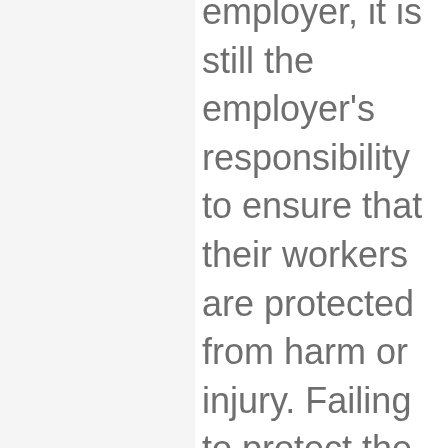employer, it is still the employer's responsibility to ensure that their workers are protected from harm or injury. Failing to protect the safety and wellbeing on their workers can make the employer vulnerable to legal liability when it is proven that negligence is the cause of the accident and worker's injury. The employers' responsibility does not stop even when the workplace accident was caused by the worker because of the OSH Act of 1970 that states the employers' responsibility of ensuring the safety and